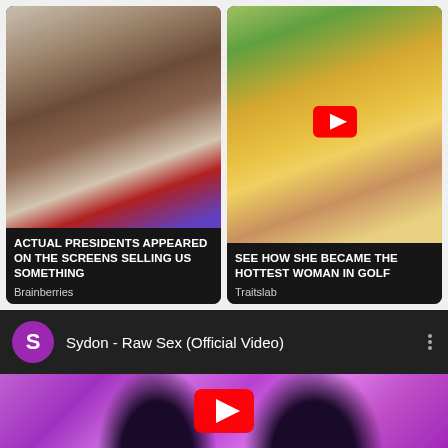[Figure (screenshot): Thumbnail of a man (resembling Barack Obama) speaking in front of an American flag]
ACTUAL PRESIDENTS APPEARED ON THE SCREENS SELLING US SOMETHING
Brainberries
[Figure (screenshot): Thumbnail of a blonde woman in yellow top holding a golf club with YouTube play button overlay]
SEE HOW SHE BECAME THE HOTTEST WOMAN IN GOLF
Traitslab
Sydon - Raw Sex (Official Video)
[Figure (screenshot): YouTube video thumbnail with purple/pink background showing two figures and a YouTube play button]